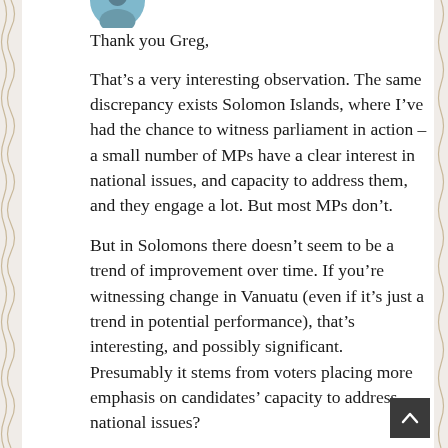[Figure (photo): Partial avatar/profile image at top of comment]
Thank you Greg,
That’s a very interesting observation. The same discrepancy exists Solomon Islands, where I’ve had the chance to witness parliament in action – a small number of MPs have a clear interest in national issues, and capacity to address them, and they engage a lot. But most MPs don’t.
But in Solomons there doesn’t seem to be a trend of improvement over time. If you’re witnessing change in Vanuatu (even if it’s just a trend in potential performance), that’s interesting, and possibly significant. Presumably it stems from voters placing more emphasis on candidates’ capacity to address national issues?
Terence
Reply